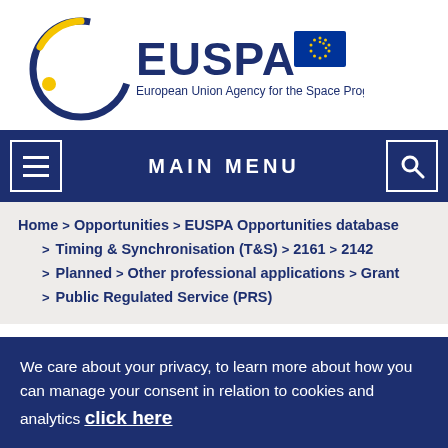[Figure (logo): EUSPA logo — European Union Agency for the Space Programme, with circular dark blue and yellow arc emblem, EUSPA text, and EU flag]
MAIN MENU
Home > Opportunities > EUSPA Opportunities database > Timing & Synchronisation (T&S) > 2161 > 2142 > Planned > Other professional applications > Grant > Public Regulated Service (PRS)
We care about your privacy, to learn more about how you can manage your consent in relation to cookies and analytics click here